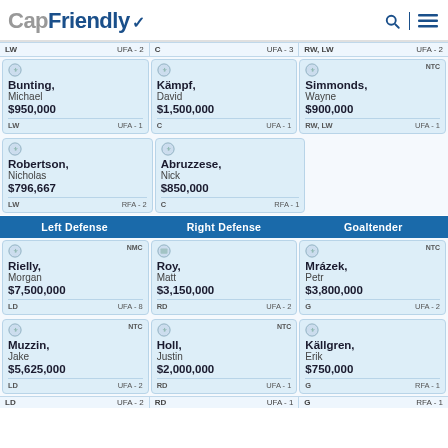CapFriendly
| LW / UFA-2 | C / UFA-3 | RW,LW / UFA-2 |
| --- | --- | --- |
| Bunting, Michael $950,000 LW UFA-1 | Kämpf, David $1,500,000 C UFA-1 | Simmonds (NTC), Wayne $900,000 RW,LW UFA-1 |
| Robertson, Nicholas $796,667 LW RFA-2 | Abruzzese, Nick $850,000 C RFA-1 |  |
Left Defense | Right Defense | Goaltender
| LD / UFA-8 NMC | RD / UFA-2 | G / UFA-2 NTC |
| --- | --- | --- |
| Rielly, Morgan $7,500,000 LD UFA-8 | Roy, Matt $3,150,000 RD UFA-2 | Mrázek (NTC), Petr $3,800,000 G UFA-2 |
| Muzzin (NTC), Jake $5,625,000 LD UFA-2 | Holl (NTC), Justin $2,000,000 RD UFA-1 | Källgren, Erik $750,000 G RFA-1 |